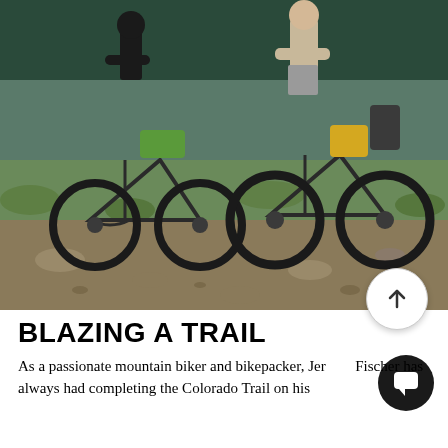[Figure (photo): Two mountain bikers standing with their loaded bikepacking bikes on a rocky alpine terrain. The bikes have gear bags attached. The background shows a mountain landscape with sparse vegetation.]
BLAZING A TRAIL
As a passionate mountain biker and bikepacker, Jeremy Fischer has always had completing the Colorado Trail on his